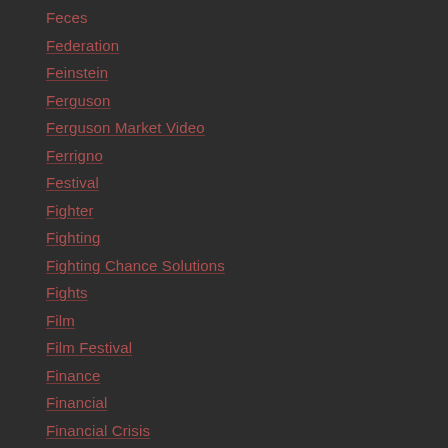Feces
Federation
Feinstein
Ferguson
Ferguson Market Video
Ferrigno
Festival
Fighter
Fighting
Fighting Chance Solutions
Fights
Film
Film Festival
Finance
Financial
Financial Crisis
Fire
Fire And Fury Book
Fire Challnege
Fired
Fire Fighter